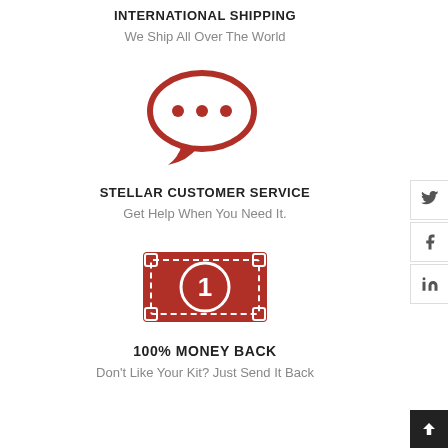INTERNATIONAL SHIPPING
We Ship All Over The World
[Figure (illustration): Red speech bubble icon with three dots inside]
STELLAR CUSTOMER SERVICE
Get Help When You Need It.
[Figure (illustration): Red money bill icon with a circle containing number 1]
100% MONEY BACK
Don't Like Your Kit? Just Send It Back